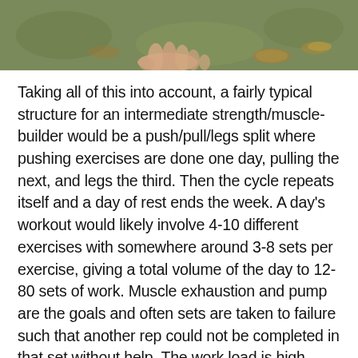[Figure (photo): Photo showing hands on the ground with grass and fallen leaves visible]
Taking all of this into account, a fairly typical structure for an intermediate strength/muscle-builder would be a push/pull/legs split where pushing exercises are done one day, pulling the next, and legs the third. Then the cycle repeats itself and a day of rest ends the week. A day's workout would likely involve 4-10 different exercises with somewhere around 3-8 sets per exercise, giving a total volume of the day to 12-80 sets of work. Muscle exhaustion and pump are the goals and often sets are taken to failure such that another rep could not be completed in that set without help. The work load is high enough that the muscle groups must be rested before the workout is repeated. This takes a lot of time (probably an hour or more) and